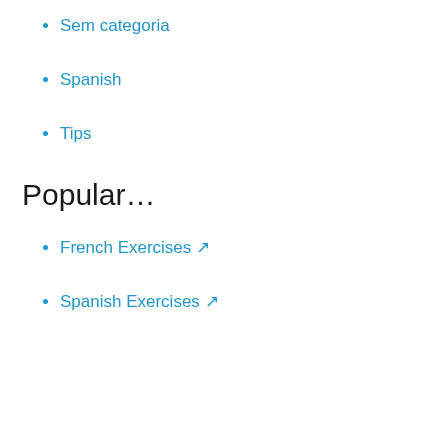Sem categoria
Spanish
Tips
Popular…
French Exercises ↗
Spanish Exercises ↗